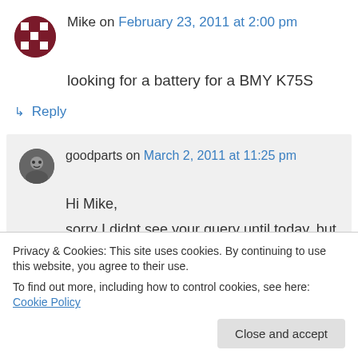[Figure (illustration): User avatar for Mike - dark red/maroon checkerboard pattern icon]
Mike on February 23, 2011 at 2:00 pm
looking for a battery for a BMY K75S
↳ Reply
[Figure (illustration): User avatar for goodparts - dark photo style circular avatar]
goodparts on March 2, 2011 at 11:25 pm
Hi Mike,
sorry I didnt see your query until today, but could well have been due to the earthquake
we suffered on the 22nd. Sorry I cant help
Privacy & Cookies: This site uses cookies. By continuing to use this website, you agree to their use.
To find out more, including how to control cookies, see here: Cookie Policy
Close and accept